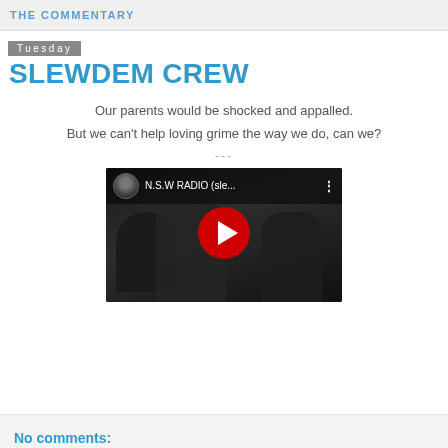THE COMMENTARY
Tuesday
SLEWDEM CREW
Our parents would be shocked and appalled.
But we can't help loving grime the way we do, can we?
[Figure (screenshot): YouTube video thumbnail showing N.S.W RADIO (sle... with a red play button overlay on a dark background of people in a room]
No comments: